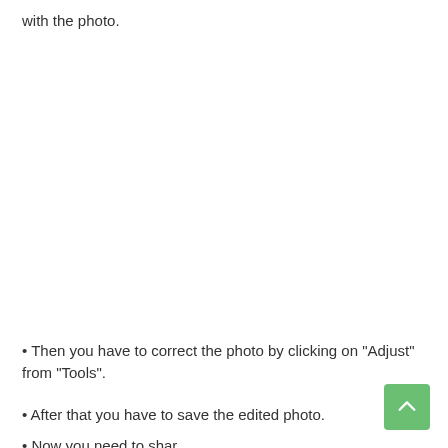with the photo.
• Then you have to correct the photo by clicking on "Adjust" from "Tools".
• After that you have to save the edited photo.
• Now you need to share the photo.